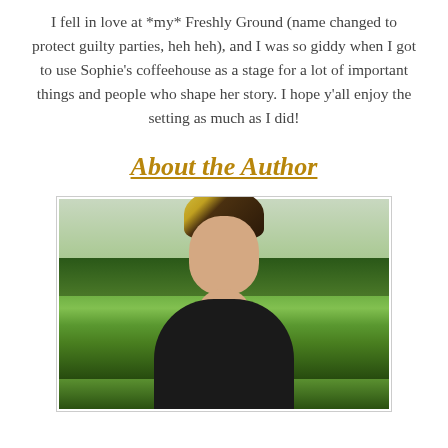I fell in love at *my* Freshly Ground (name changed to protect guilty parties, heh heh), and I was so giddy when I got to use Sophie's coffeehouse as a stage for a lot of important things and people who shape her story. I hope y'all enjoy the setting as much as I did!
About the Author
[Figure (photo): Outdoor portrait photo of a woman with brown hair with blonde highlights, wearing a dark jacket and necklace, standing in front of a green grassy field with trees in the background under an overcast sky.]